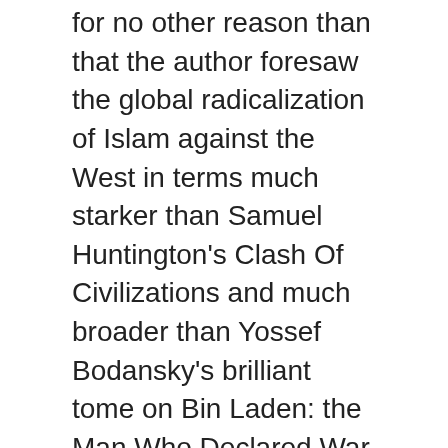for no other reason than that the author foresaw the global radicalization of Islam against the West in terms much starker than Samuel Huntington's Clash Of Civilizations and much broader than Yossef Bodansky's brilliant tome on Bin Laden: the Man Who Declared War on America. In the author's view we erred gravely in not understanding the asymmetric scope of the threat of Bin Laden and post-Taliban Afghanistan, and we appear to have erred in a truly gigantic way in not seeing that the second Gulf War was in fact doing Iran's bidding and accomplishing something Iran could never have done on its own. …Overall I rate this book one of the ten most useful books relevant to understanding and defeating radical Islam, which the author says is 'a meme growing ravenous,' a sleeping giant that has been